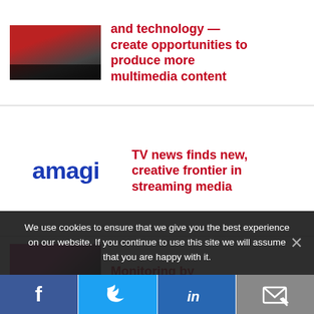[Figure (screenshot): Thumbnail image of weather or news broadcast with data overlay]
and technology — create opportunities to produce more multimedia content
[Figure (logo): Amagi company logo in blue text]
TV news finds new, creative frontier in streaming media
[Figure (screenshot): Thumbnail image of a pink/magenta broadcast monitoring screen]
Monitoring by
We use cookies to ensure that we give you the best experience on our website. If you continue to use this site we will assume that you are happy with it.
Facebook | Twitter | LinkedIn | Email